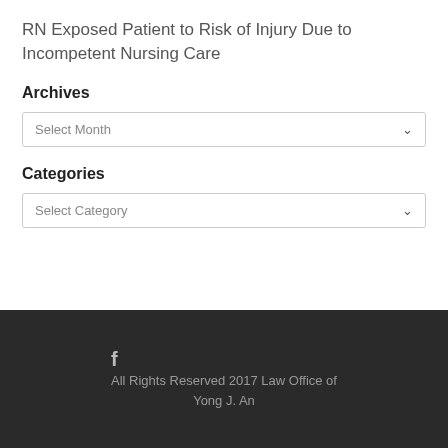RN Exposed Patient to Risk of Injury Due to Incompetent Nursing Care
Archives
Select Month
Categories
Select Category
f
All Rights Reserved 2017 Law Office of Yong J. An